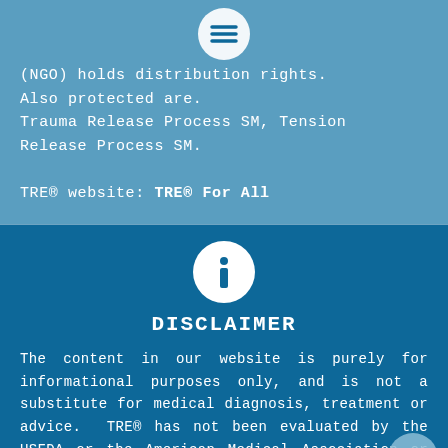(NGO) holds distribution rights. Also protected are. Trauma Release Process SM, Tension Release Process SM.

TRE® website: TRE® For All
[Figure (infographic): Info icon — white circle with lowercase 'i' on dark blue background]
DISCLAIMER
The content in our website is purely for informational purposes only, and is not a substitute for medical diagnosis, treatment or advice. TRE® has not been evaluated by the USFDA or the American Medical Association or any